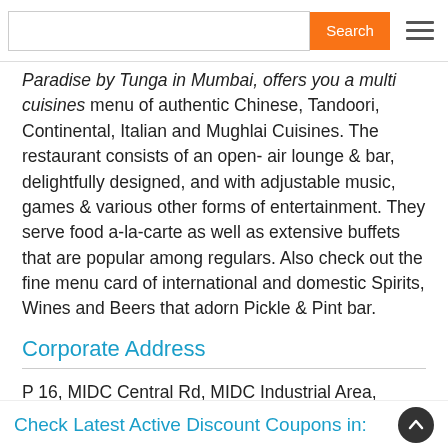Search [navigation bar with search input and hamburger menu]
Paradise by Tunga in Mumbai, offers you a multi cuisines menu of authentic Chinese, Tandoori, Continental, Italian and Mughlai Cuisines. The restaurant consists of an open-air lounge & bar, delightfully designed, and with adjustable music, games & various other forms of entertainment. They serve food a-la-carte as well as extensive buffets that are popular among regulars. Also check out the fine menu card of international and domestic Spirits, Wines and Beers that adorn Pickle & Pint bar.
Corporate Address
P 16, MIDC Central Rd, MIDC Industrial Area,
Andheri East,
Mumbai, India 400093
Website: http://www.tungahotels.com/the-paradise.php
Check Latest Active Discount Coupons in: